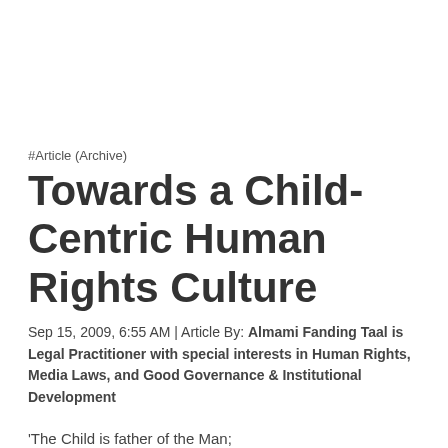#Article (Archive)
Towards a Child-Centric Human Rights Culture
Sep 15, 2009, 6:55 AM | Article By: Almami Fanding Taal is Legal Practitioner with special interests in Human Rights, Media Laws, and Good Governance & Institutional Development
'The Child is father of the Man; and I could wish my days to be bound each to each by natural piety.'